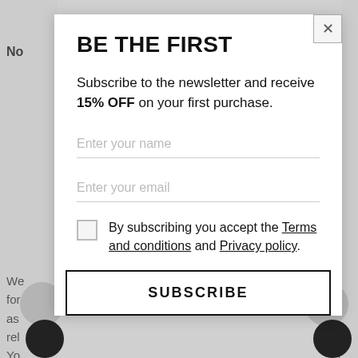BE THE FIRST
Subscribe to the newsletter and receive 15% OFF on your first purchase.
Enter your name
Enter your email
By subscribing you accept the Terms and conditions and Privacy policy.
SUBSCRIBE